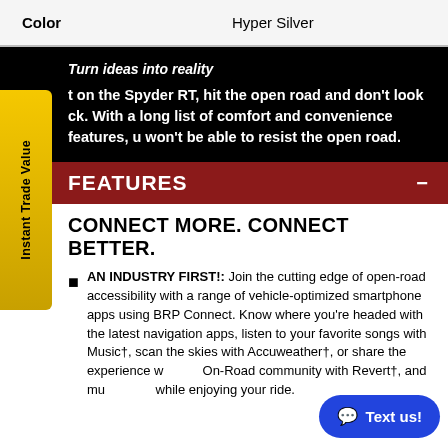| Color |  |
| --- | --- |
| Color | Hyper Silver |
Turn ideas into reality
t on the Spyder RT, hit the open road and don't look ck. With a long list of comfort and convenience features, u won't be able to resist the open road.
FEATURES
CONNECT MORE. CONNECT BETTER.
AN INDUSTRY FIRST!: Join the cutting edge of open-road accessibility with a range of vehicle-optimized smartphone apps using BRP Connect. Know where you're headed with the latest navigation apps, listen to your favorite songs with Music†, scan the skies with Accuweather†, or share the experience with the On-Road community with Revert†, and mu... while enjoying your ride.